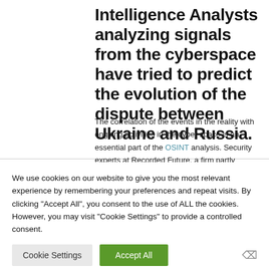Intelligence Analysts analyzing signals from the cyberspace have tried to predict the evolution of the dispute between Ukraine and Russia.
The correlation of the events in the reality with ongoing activities in the cyber space is an essential part of the OSINT analysis. Security experts at Recorded Future, a firm partly funded by the CIA
We use cookies on our website to give you the most relevant experience by remembering your preferences and repeat visits. By clicking "Accept All", you consent to the use of ALL the cookies. However, you may visit "Cookie Settings" to provide a controlled consent.